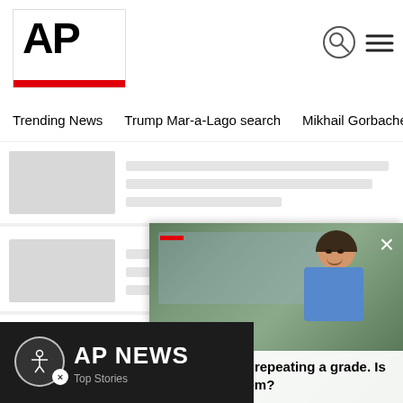AP
Trending News   Trump Mar-a-Lago search   Mikhail Gorbachev d
[Figure (screenshot): AP News article card with skeleton loading placeholder image and text lines]
[Figure (screenshot): AP News article card with skeleton loading placeholder image and text lines]
[Figure (screenshot): AP News article card with skeleton loading placeholder image and text lines]
[Figure (photo): Video overlay showing a boy smiling outside a school building, with caption: More kids are repeating a grade. Is it good for them?]
More kids are repeating a grade. Is it good for them?
AP NEWS